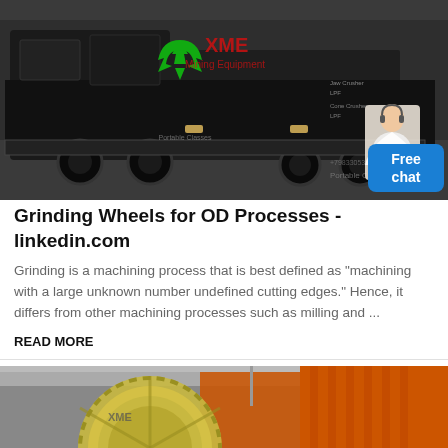[Figure (photo): Large dark industrial mining/crushing machinery on a truck, with XME Mining Equipment logo (green recycling arrows with red XME text), street scene background. A customer service representative icon in lower right corner with a blue 'Free chat' button.]
Grinding Wheels for OD Processes - linkedin.com
Grinding is a machining process that is best defined as "machining with a large unknown number undefined cutting edges." Hence, it differs from other machining processes such as milling and ...
READ MORE
[Figure (photo): Partial view of industrial grinding wheel or circular machinery component in a factory setting, with orange structure visible in background.]